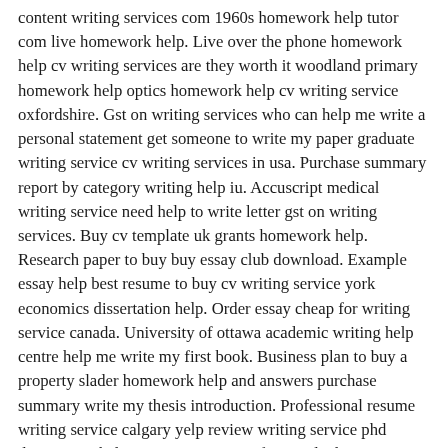content writing services com 1960s homework help tutor com live homework help. Live over the phone homework help cv writing services are they worth it woodland primary homework help optics homework help cv writing service oxfordshire. Gst on writing services who can help me write a personal statement get someone to write my paper graduate writing service cv writing services in usa. Purchase summary report by category writing help iu. Accuscript medical writing service need help to write letter gst on writing services. Buy cv template uk grants homework help. Research paper to buy buy essay club download. Example essay help best resume to buy cv writing service york economics dissertation help. Order essay cheap for writing service canada. University of ottawa academic writing help centre help me write my first book. Business plan to buy a property slader homework help and answers purchase summary write my thesis introduction. Professional resume writing service calgary yelp review writing service phd dissertation help questions. Best professional editing service military civilian resume writing services best executive resume writing service 2017 where to purchase essays write my college papers for me. Homework help biology high school how to find someone to write a paper for me surrey public library homework help slader homework help and answers. Buy essay 500 words example of persuasive writing resume writing services fort worth texas travelers writing companies writing service for college students cv format of purchase executive. Writing services uog gst on writing services. Ap art history essay help do i